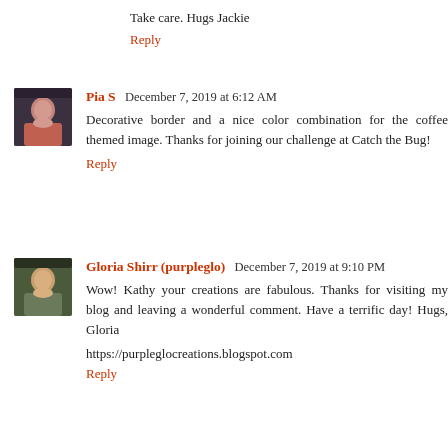Take care. Hugs Jackie
Reply
Pia S  December 7, 2019 at 6:12 AM
Decorative border and a nice color combination for the coffee themed image. Thanks for joining our challenge at Catch the Bug!
Reply
Gloria Shirr (purpleglo)  December 7, 2019 at 9:10 PM
Wow! Kathy your creations are fabulous. Thanks for visiting my blog and leaving a wonderful comment. Have a terrific day! Hugs, Gloria
https://purpleglocreations.blogspot.com
Reply